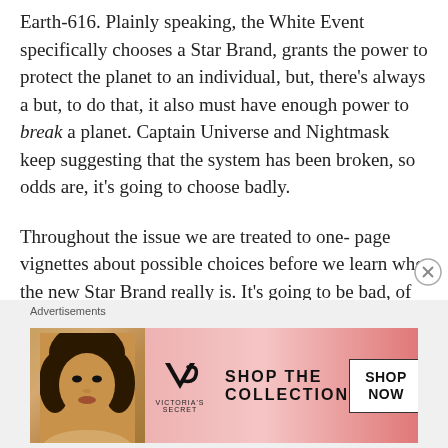Earth-616. Plainly speaking, the White Event specifically chooses a Star Brand, grants the power to protect the planet to an individual, but, there's always a but, to do that, it also must have enough power to break a planet. Captain Universe and Nightmask keep suggesting that the system has been broken, so odds are, it's going to choose badly.
Throughout the issue we are treated to one-page vignettes about possible choices before we learn who the new Star Brand really is. It's going to be bad, of course. But that's not all that's in
Advertisements
[Figure (infographic): Victoria's Secret advertisement banner with a model, VS logo, 'SHOP THE COLLECTION' text, and a 'SHOP NOW' button on a pink background.]